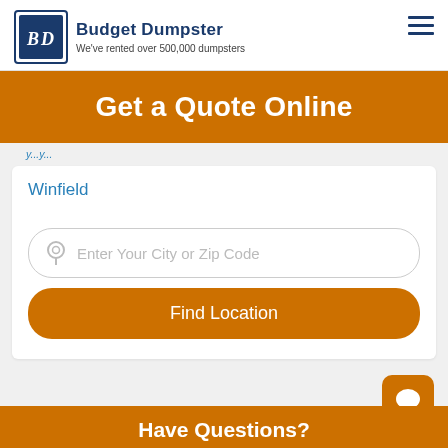Budget Dumpster — We've rented over 500,000 dumpsters
Get a Quote Online
Winfield
Enter Your City or Zip Code
Find Location
Have Questions?